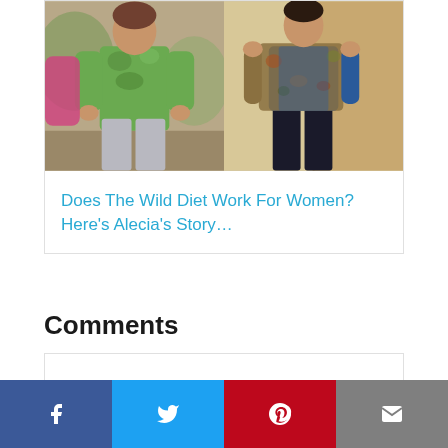[Figure (photo): Before and after photo of a woman on a diet, showing two side-by-side images: before (wearing a green patterned top and light pants outdoors) and after (wearing a blue top and dark pants with a patterned jacket indoors).]
Does The Wild Diet Work For Women? Here's Alecia's Story…
Comments
[Figure (infographic): Social sharing bar with four buttons: Facebook (blue), Twitter (light blue), Pinterest (red), Email (gray)]